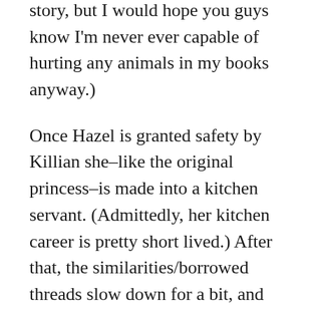story, but I would hope you guys know I'm never ever capable of hurting any animals in my books anyway.)
Once Hazel is granted safety by Killian she–like the original princess–is made into a kitchen servant. (Admittedly, her kitchen career is pretty short lived.) After that, the similarities/borrowed threads slow down for a bit, and you mostly just get glancing references (Until Magic Redeemed… 😉 😉 )
One of the biggest pieces I added in that acted as a nod to the original and was still somewhat plot motivated was Hazel's dress, which she wears when she goes out to eat with Killian. It is sky blue–much like the first